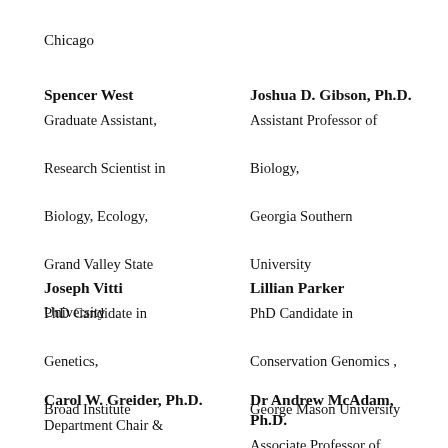Chicago
Spencer West
Graduate Assistant, Research Scientist in Biology, Ecology, Grand Valley State University
Joshua D. Gibson, Ph.D.
Assistant Professor of Biology, Georgia Southern University
Joseph Vitti
PhD Candidate in Genetics, Broad Institute
Lillian Parker
PhD Candidate in Conservation Genomics , George Mason University
Carol W. Greider, Ph.D.
Department Chair &
Dr Andrew McAdam, Ph.D.
Associate Professor of